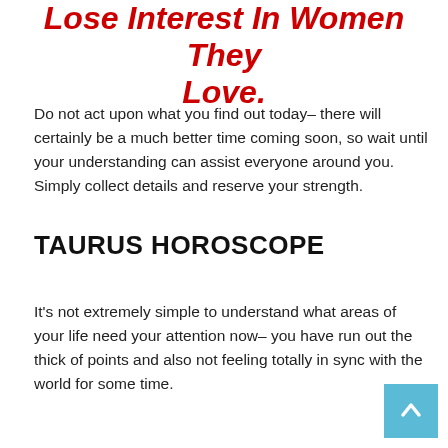Lose Interest In Women They Love.
Do not act upon what you find out today– there will certainly be a much better time coming soon, so wait until your understanding can assist everyone around you. Simply collect details and reserve your strength.
TAURUS HOROSCOPE
It's not extremely simple to understand what areas of your life need your attention now– you have run out the thick of points and also not feeling totally in sync with the world for some time.